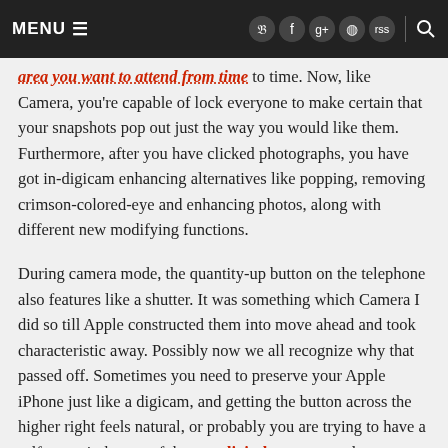MENU | [social icons] | [search]
area you want to attend from time to time. Now, like Camera, you're capable of lock everyone to make certain that your snapshots pop out just the way you would like them. Furthermore, after you have clicked photographs, you have got in-digicam enhancing alternatives like popping, removing crimson-colored-eye and enhancing photos, along with different new modifying functions.
During camera mode, the quantity-up button on the telephone also features like a shutter. It was something which Camera I did so till Apple constructed them into move ahead and took characteristic away. Possibly now we all recognize why that passed off. Sometimes you need to preserve your Apple iPhone just like a digicam, and getting the button across the higher right feels natural, or probably you are trying to have a self-portrait the use of the rear digital camera, and